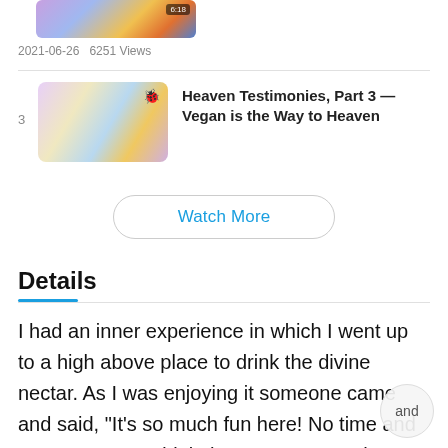[Figure (photo): Thumbnail image of a video, partially visible at top of page with a duration badge]
2021-06-26   6251 Views
[Figure (photo): Thumbnail image for 'Heaven Testimonies, Part 3 — Vegan is the Way to Heaven' video]
Heaven Testimonies, Part 3 — Vegan is the Way to Heaven
Watch More
Details
I had an inner experience in which I went up to a high above place to drink the divine nectar. As I was enjoying it someone came and said, "It's so much fun here! No time and space. We can drink the nectar as much as